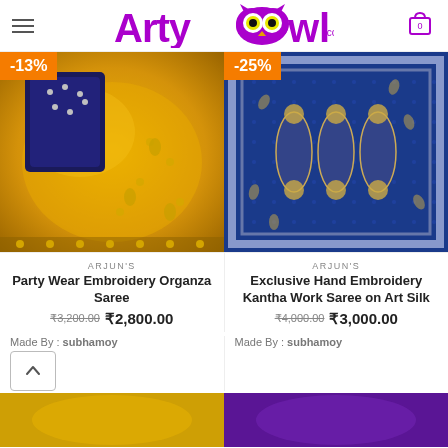ArtyOwl.com
[Figure (photo): Yellow organza saree with embroidery and blue blouse pieces, with -13% discount badge]
[Figure (photo): Blue art silk saree with hand embroidery kantha work, with -25% discount badge]
ARJUN'S
Party Wear Embroidery Organza Saree
₹3,200.00 ₹2,800.00
ARJUN'S
Exclusive Hand Embroidery Kantha Work Saree on Art Silk
₹4,000.00 ₹3,000.00
Made By : subhamoy
Made By : subhamoy
[Figure (photo): Bottom thumbnail of yellow saree product]
[Figure (photo): Bottom thumbnail of purple/dark product]